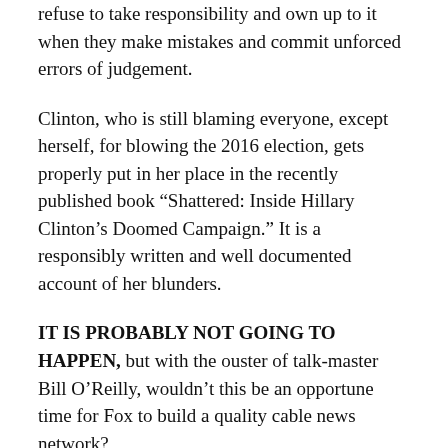refuse to take responsibility and own up to it when they make mistakes and commit unforced errors of judgement.
Clinton, who is still blaming everyone, except herself, for blowing the 2016 election, gets properly put in her place in the recently published book “Shattered: Inside Hillary Clinton’s Doomed Campaign.” It is a responsibly written and well documented account of her blunders.
IT IS PROBABLY NOT GOING TO HAPPEN, but with the ouster of talk-master Bill O’Reilly, wouldn’t this be an opportune time for Fox to build a quality cable news network?
The network could still feature conservative commentary. However, why not take the high road, changing the apparently sexist and outdated internal culture and switching from an entertaining but irresponsible tabloid newspaper style to more of a Wall Street Journal format.